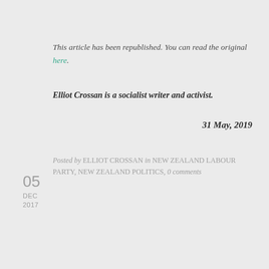This article has been republished. You can read the original here.
Elliot Crossan is a socialist writer and activist.
31 May, 2019
Posted by ELLIOT CROSSAN in NEW ZEALAND LABOUR PARTY, NEW ZEALAND POLITICS, 0 comments
05 DEC 2017